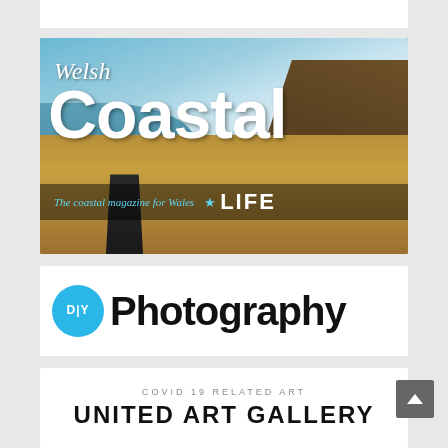[Figure (logo): White rectangular bar at top of page]
[Figure (photo): Welsh Coastal Life magazine banner showing coastal landscape with cliffs, sandy beach, sea, and sky. Text reads 'Welsh Coastal Life - The coastal magazine for Wales * LIFE']
[Figure (logo): DIY Photography logo - blue circle with 'DIY' text followed by 'Photography' in large bold black text on white background]
[Figure (logo): United Art Gallery banner with 'COVID 19 RELATED ART' subtitle text above 'UNITED ART GALLERY' in large bold black text on white background]